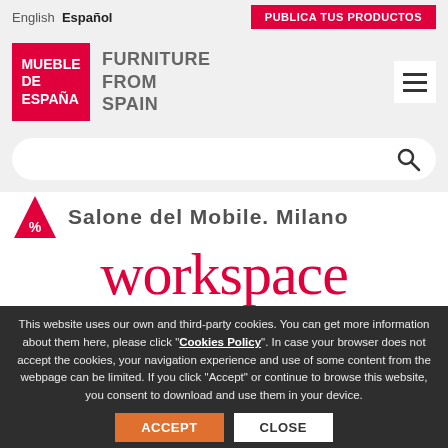English  Español  |  PUBLICA TUS PRODUCTOS
[Figure (logo): Mueble de España – Furniture From Spain logo with red box and hamburger menu icon]
[Figure (screenshot): Search bar with magnifying glass icon]
[Figure (illustration): Partially visible Salone del Mobile. Milano banner with red triangle logo]
[Figure (illustration): Large red italic 'workspace' text on white background]
This website uses our own and third-party cookies. You can get more information about them here, please click "Cookies Policy". In case your browser does not accept the cookies, your navigation experience and use of some content from the webpage can be limited. If you click "Accept" or continue to browse this website, you consent to download and use them in your device.
ACCEPT  CLOSE